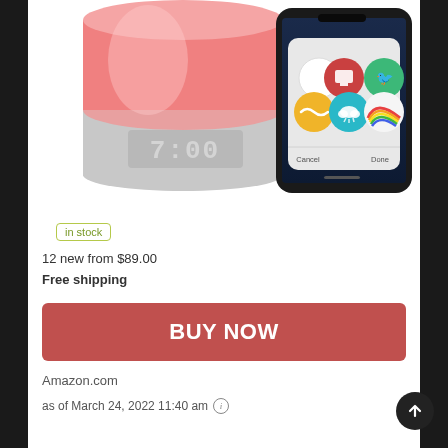[Figure (photo): Product photo showing a smart alarm clock lamp glowing pink/red with a digital display showing 7:00, alongside a smartphone displaying an app interface with colored icons (white, red TV, green Twitter bird, yellow wave, teal cloud, rainbow) and Cancel/Done buttons at bottom.]
in stock
12 new from $89.00
Free shipping
BUY NOW
Amazon.com
as of March 24, 2022 11:40 am